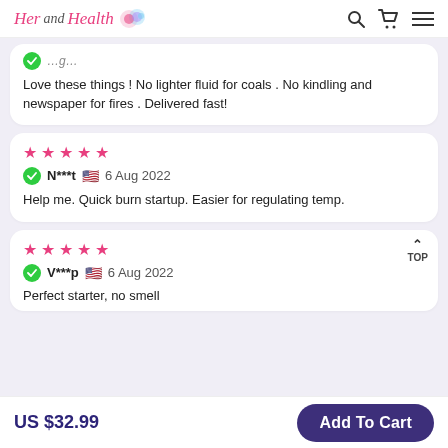Her and Health
Love these things ! No lighter fluid for coals . No kindling and newspaper for fires . Delivered fast!
★★★★★ N***t 🇺🇸 6 Aug 2022 Help me. Quick burn startup. Easier for regulating temp.
★★★★★ V***p 🇺🇸 6 Aug 2022 Perfect starter, no smell
US $32.99
Add To Cart